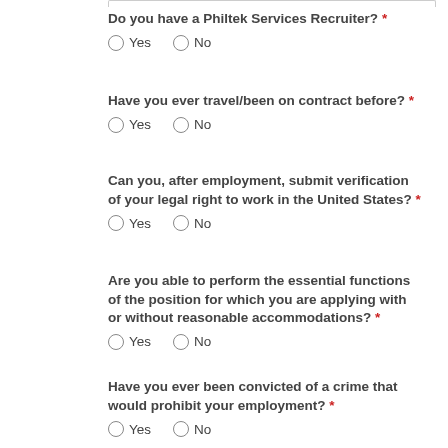Do you have a Philtek Services Recruiter? *
Yes  No
Have you ever travel/been on contract before? *
Yes  No
Can you, after employment, submit verification of your legal right to work in the United States? *
Yes  No
Are you able to perform the essential functions of the position for which you are applying with or without reasonable accommodations? *
Yes  No
Have you ever been convicted of a crime that would prohibit your employment? *
Yes  No